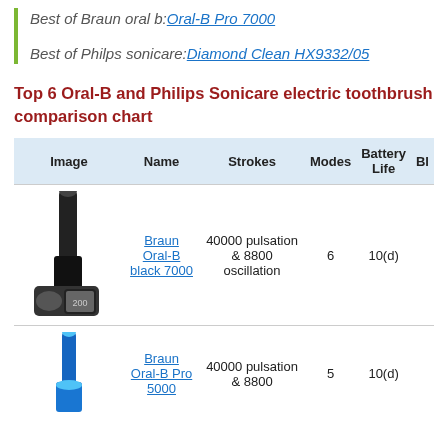Best of Braun oral b: Oral-B Pro 7000
Best of Philps sonicare: Diamond Clean HX9332/05
Top 6 Oral-B and Philips Sonicare electric toothbrush comparison chart
| Image | Name | Strokes | Modes | Battery Life | Bl |
| --- | --- | --- | --- | --- | --- |
| [image] | Braun Oral-B black 7000 | 40000 pulsation & 8800 oscillation | 6 | 10(d) |  |
| [image] | Braun Oral-B Pro 5000 | 40000 pulsation & 8800 | 5 | 10(d) |  |